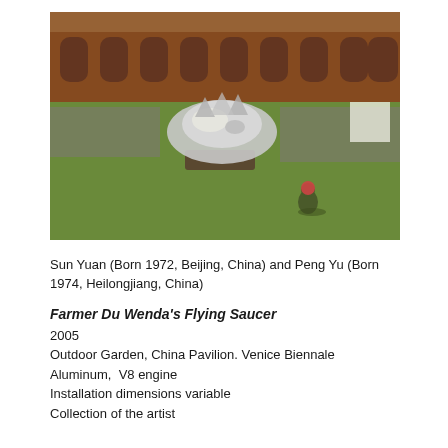[Figure (photo): Outdoor photo showing a large silver metallic flying saucer-shaped sculpture on a wheeled platform in the middle of a grassy courtyard surrounded by a brick building with arched windows. A crowd of spectators lines the perimeter. In the foreground, a figure in military green with a red helmet crouches facing the sculpture.]
Sun Yuan (Born 1972, Beijing, China) and Peng Yu (Born 1974, Heilongjiang, China)
Farmer Du Wenda's Flying Saucer
2005
Outdoor Garden, China Pavilion. Venice Biennale
Aluminum,  V8 engine
Installation dimensions variable
Collection of the artist